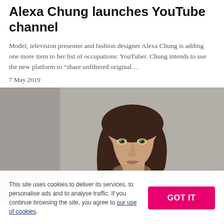Alexa Chung launches YouTube channel
Model, television presenter and fashion designer Alexa Chung is adding one more item to her list of occupations: YouTuber. Chung intends to use the new platform to “share unfiltered original…
7 May 2019
[Figure (photo): Portrait photo of Alexa Chung, a woman with long dark brown hair and green eyes, wearing a white shirt, set against a grey background.]
This site uses cookies to deliver its services, to personalise ads and to analyse traffic. If you continue browsing the site, you agree to our use of cookies.